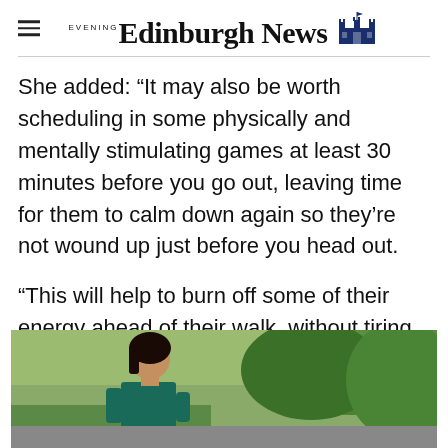Edinburgh Evening News
She added: “It may also be worth scheduling in some physically and mentally stimulating games at least 30 minutes before you go out, leaving time for them to calm down again so they’re not wound up just before you head out.
“This will help to burn off some of their energy ahead of their walk, without tiring them out.”
[Figure (photo): A woman with dark hair wearing a teal/green top, photographed outdoors among trees and greenery]